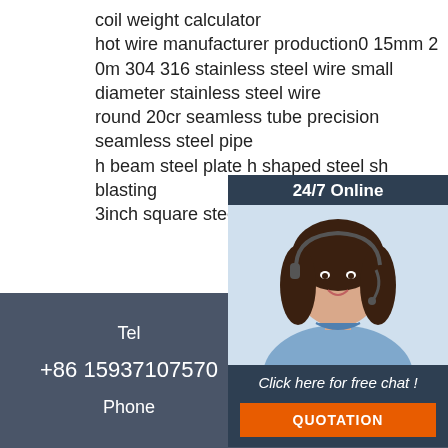coil weight calculator
hot wire manufacturer production0 15mm 2
0m 304 316 stainless steel wire small diameter stainless steel wire
round 20cr seamless tube precision seamless steel pipe
h beam steel plate h shaped steel sh blasting
3inch square steel tube making weld
[Figure (photo): Customer service representative with headset smiling, with 24/7 Online banner, free chat CTA and QUOTATION button overlay widget]
Tel
+86 15937107570
Phone